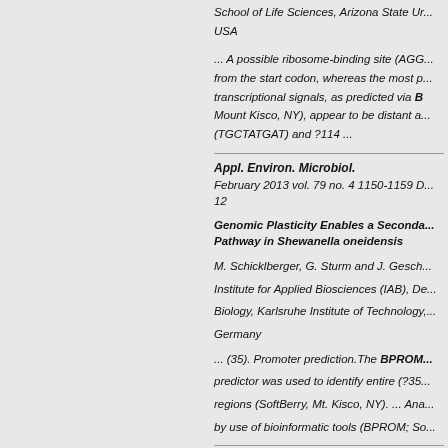School of Life Sciences, Arizona State University (ASU), USA
... A possible ribosome-binding site (AGGA) from the start codon, whereas the most probable transcriptional signals, as predicted via BPROM (Mount Kisco, NY), appear to be distant and (TGCTATGAT) and ?114 ...
Appl. Environ. Microbiol.
February 2013 vol. 79 no. 4 1150-1159 D... 12
Genomic Plasticity Enables a Secondary Pathway in Shewanella oneidensis
M. Schicklberger, G. Sturm and J. Gesch... Institute for Applied Biosciences (IAB), Department of Biology, Karlsruhe Institute of Technology, Germany
... (35). Promoter prediction.The BPROM predictor was used to identify entire (?35...) regions (SoftBerry, Mt. Kisco, NY). ... Analysis by use of bioinformatic tools (BPROM; So...
PloS one
October 07, 2013DOI: 10.1371/journal.po...